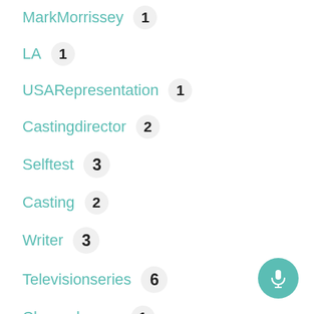MarkMorrissey 1
LA 1
USARepresentation 1
Castingdirector 2
Selftest 3
Casting 2
Writer 3
Televisionseries 6
Channelseven 1
MEAA 1
DavidMamet 1
BlueHealers 1